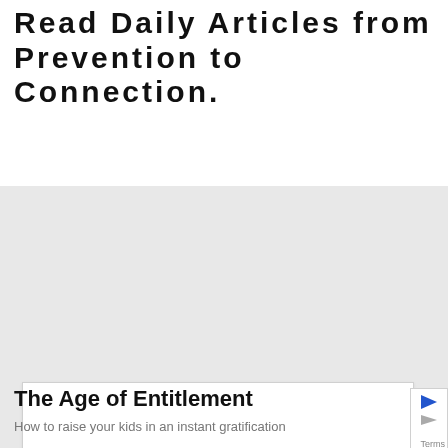Read Daily Articles from Prevention to Connection.
[Figure (illustration): White card/image placeholder on a light gray background band]
The Age of Entitlement
How to raise your kids in an instant gratification